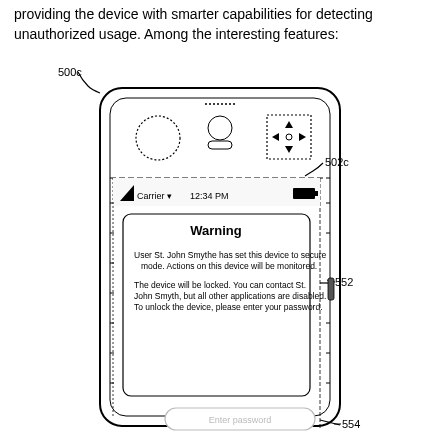providing the device with smarter capabilities for detecting unauthorized usage. Among the interesting features:
[Figure (engineering-diagram): Patent drawing of a smartphone device (labeled 500c) showing front face with camera, earpiece, and directional pad in top section (labeled 502c). Below a dashed line is a screen showing a status bar with 'Carrier' signal, '12:34 PM', and battery icon. A warning dialog box is shown with title 'Warning', text about User St. John Smythe setting device to secure mode, and a message about contacting St. John Smyth. The right side has a dashed border region labeled 552. At the bottom is an 'Enter password' input field labeled 554.]